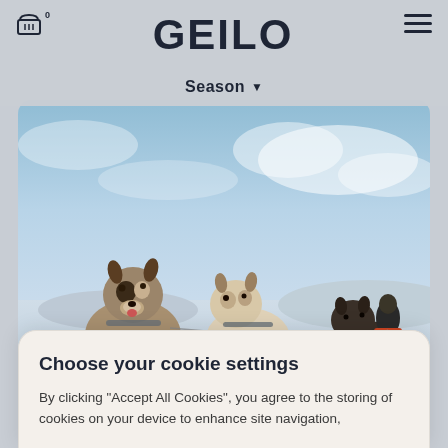GEILO
Season ▾
[Figure (photo): Dog sledding scene on a snowy landscape. Several huskies pulling a sled with a musher in the background under a blue sky with clouds.]
Choose your cookie settings
By clicking "Accept All Cookies", you agree to the storing of cookies on your device to enhance site navigation,